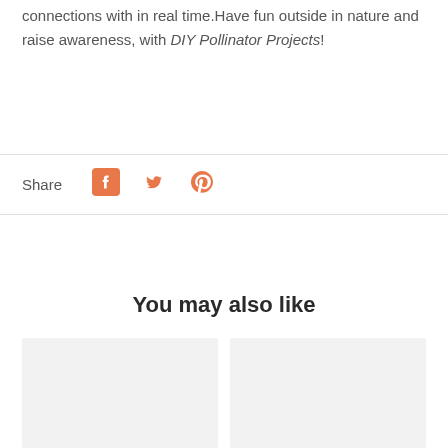connections with in real time. Have fun outside in nature and raise awareness, with DIY Pollinator Projects!
Share
[Figure (infographic): Social share icons: Facebook (orange), Twitter (orange), Pinterest (orange)]
You may also like
[Figure (photo): Product card placeholder image left]
[Figure (photo): Product card placeholder image right]